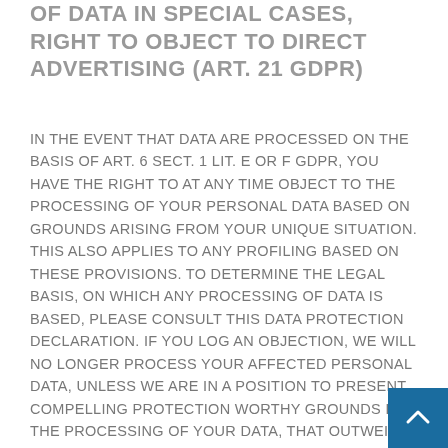OF DATA IN SPECIAL CASES, RIGHT TO OBJECT TO DIRECT ADVERTISING (ART. 21 GDPR)
IN THE EVENT THAT DATA ARE PROCESSED ON THE BASIS OF ART. 6 SECT. 1 LIT. E OR F GDPR, YOU HAVE THE RIGHT TO AT ANY TIME OBJECT TO THE PROCESSING OF YOUR PERSONAL DATA BASED ON GROUNDS ARISING FROM YOUR UNIQUE SITUATION. THIS ALSO APPLIES TO ANY PROFILING BASED ON THESE PROVISIONS. TO DETERMINE THE LEGAL BASIS, ON WHICH ANY PROCESSING OF DATA IS BASED, PLEASE CONSULT THIS DATA PROTECTION DECLARATION. IF YOU LOG AN OBJECTION, WE WILL NO LONGER PROCESS YOUR AFFECTED PERSONAL DATA, UNLESS WE ARE IN A POSITION TO PRESENT COMPELLING PROTECTION WORTHY GROUNDS FOR THE PROCESSING OF YOUR DATA, THAT OUTWEIGH YOUR INTERESTS, RIGHTS AND